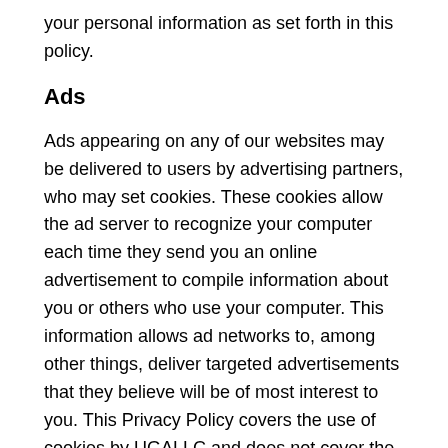your personal information as set forth in this policy.
Ads
Ads appearing on any of our websites may be delivered to users by advertising partners, who may set cookies. These cookies allow the ad server to recognize your computer each time they send you an online advertisement to compile information about you or others who use your computer. This information allows ad networks to, among other things, deliver targeted advertisements that they believe will be of most interest to you. This Privacy Policy covers the use of cookies by UGALLC and does not cover the use of cookies by any advertisers.
Children's Privacy